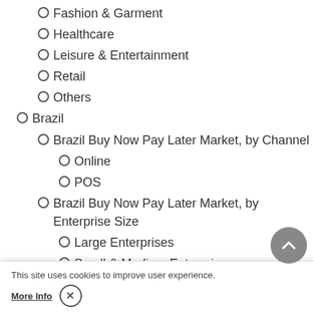Fashion & Garment
Healthcare
Leisure & Entertainment
Retail
Others
Brazil
Brazil Buy Now Pay Later Market, by Channel
Online
POS
Brazil Buy Now Pay Later Market, by Enterprise Size
Large Enterprises
Small & Medium Enterprises
Brazil Buy Now Pay Later Market, by Use
Consumer
Fashion &
Healthcare